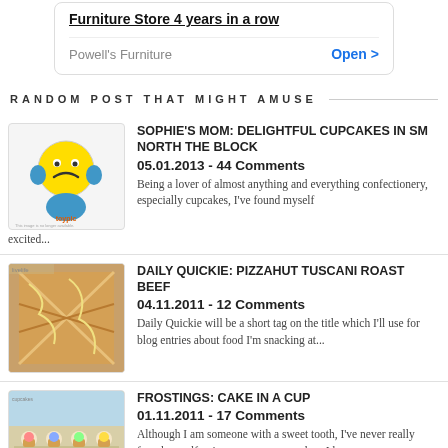[Figure (other): Advertisement card for Powell's Furniture Store with title 'Furniture Store 4 years in a row', store name 'Powell's Furniture', and 'Open >' button]
RANDOM POST THAT MIGHT AMUSE
[Figure (other): Thumbnail image placeholder (Toypic placeholder image) for Sophie's Mom cupcakes post]
SOPHIE'S MOM: DELIGHTFUL CUPCAKES IN SM NORTH THE BLOCK
05.01.2013 - 44 Comments
Being a lover of almost anything and everything confectionery, especially cupcakes, I've found myself excited...
[Figure (photo): Thumbnail photo of pizza/roast beef dish for Daily Quickie post]
DAILY QUICKIE: PIZZAHUT TUSCANI ROAST BEEF
04.11.2011 - 12 Comments
Daily Quickie will be a short tag on the title which I'll use for blog entries about food I'm snacking at...
[Figure (photo): Thumbnail photo of cupcakes display for Frostings post]
FROSTINGS: CAKE IN A CUP
01.11.2011 - 17 Comments
Although I am someone with a sweet tooth, I've never really found myself going gaga over cupcakes. I have...